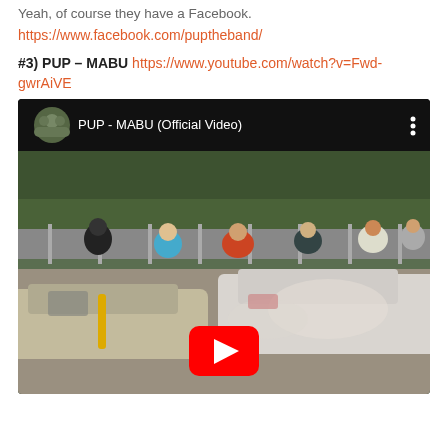Yeah, of course they have a Facebook.
https://www.facebook.com/puptheband/
#3) PUP – MABU https://www.youtube.com/watch?v=Fwd-gwrAiVE
[Figure (screenshot): YouTube video embed thumbnail showing 'PUP - MABU (Official Video)' with a demolition derby scene and YouTube play button overlay]